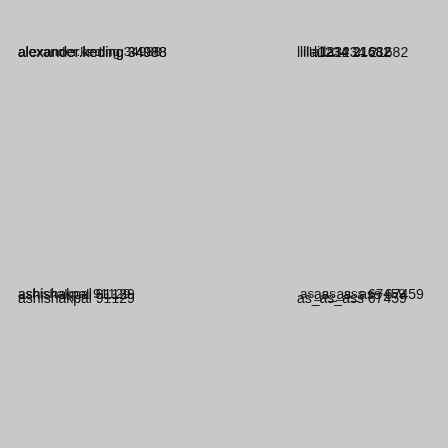alexander.keding 34988
lilla1234 21682
bassmusik 48946
armel
ashishakpal 91129
as_as_ass 67459
30mariana 74515
arqhc
rosiegunn 92751
ctgod 67217
ali.cabane 84751
0404
annalesi 47184
floridapatricia 93883
robert3740 96953
alaina
bernar2samuel 85371
anitaparekh 37113
motherlove29 93865
asdxs